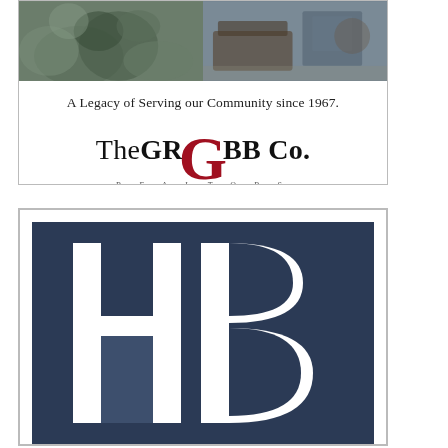[Figure (logo): The Grubb Co. Realtors advertisement with two photos of interior/plants at top, tagline 'A Legacy of Serving our Community since 1967.' and company logo with large red G monogram]
[Figure (logo): HB monogram logo in white on navy/dark blue background with white border frame]